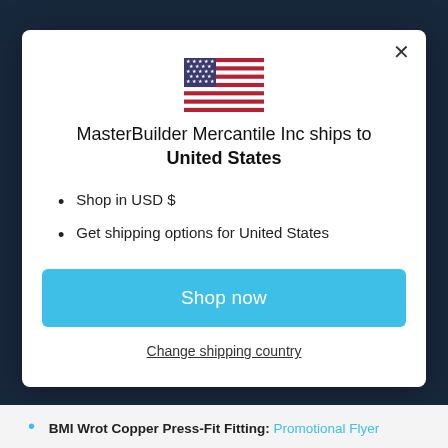[Figure (illustration): US flag SVG illustration centered at top of modal]
MasterBuilder Mercantile Inc ships to United States
Shop in USD $
Get shipping options for United States
Shop now
Change shipping country
BMI Wrot Copper Press-Fit Fitting: Promotional Flyer